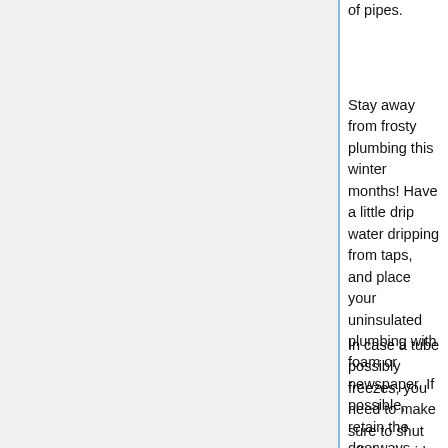of pipes.
Stay away from frosty plumbing this winter months! Have a little drip water dripping from taps, and place your uninsulated plumbing with foam or newspaper. If possible, retain the doorways open up in between unheated and warmed spaces. In an unheated place like a storage area or laundry space, have a small heater near the pipes. Bear in mind to achieve this just before the first frosty snap hits.
In case a tube possibly freezes, you need to make sure to shut off the liquid. This can keep the water pipe from bursting and resulting in you main harm